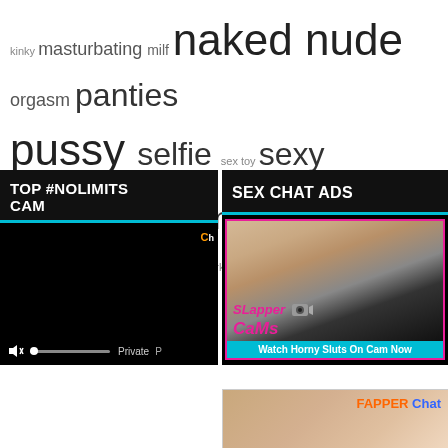kinky masturbating milf naked nude orgasm panties pussy selfie sex toy sexy shaved slut snapchat stockings teen tits twerking video voyeur wet
TOP #NOLIMITS CAM
SEX CHAT ADS
[Figure (screenshot): Dark video player with mute icon, progress bar, Private label, and Chaturbate logo]
[Figure (advertisement): Slapper Cams advertisement with text 'Watch Horny Sluts On Cam Now']
[Figure (advertisement): Fapper Chat advertisement banner]